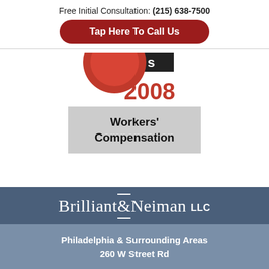Free Initial Consultation: (215) 638-7500
Tap Here To Call Us
[Figure (logo): Award badge with red circular graphic and text 'Blogs 2008' in red, followed by a gray box reading 'Workers' Compensation']
[Figure (logo): Brilliant & Neiman LLC law firm logo on blue-gray background]
Philadelphia & Surrounding Areas 260 W Street Rd